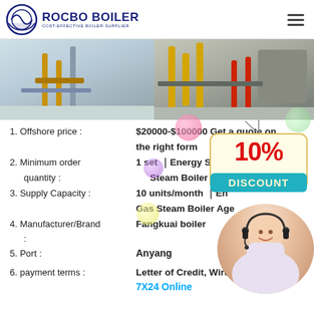ROCBO BOILER — COST-EFFECTIVE BOILER SUPPLIER
[Figure (photo): Two industrial boiler installation photos side by side showing pipes and equipment in a facility]
1. Offshore price : $20000-$100000 Get a quote on the right form
2. Minimum order quantity : 1 set ｜Energy Saving Steam Boiler Agent
3. Supply Capacity : 10 units/month ｜Energy Saving Gas Steam Boiler Agent
4. Manufacturer/Brand : Fangkuai boiler
5. Port : Anyang
6. payment terms : Letter of Credit, Wire Transfer, 7X24 Online